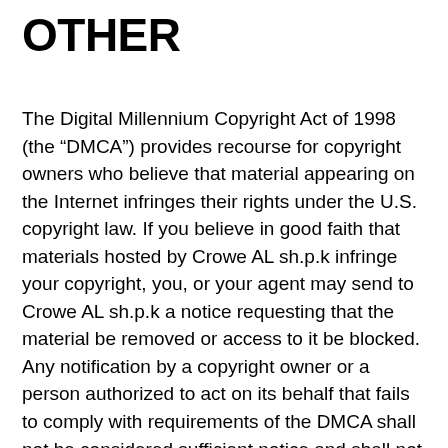OTHER
The Digital Millennium Copyright Act of 1998 (the “DMCA”) provides recourse for copyright owners who believe that material appearing on the Internet infringes their rights under the U.S. copyright law. If you believe in good faith that materials hosted by Crowe AL sh.p.k infringe your copyright, you, or your agent may send to Crowe AL sh.p.k a notice requesting that the material be removed or access to it be blocked. Any notification by a copyright owner or a person authorized to act on its behalf that fails to comply with requirements of the DMCA shall not be considered sufficient notice and shall not be deemed to confer upon Crowe AL sh.p.k actual knowledge of facts or circumstances from which infringing material or acts are evident. If you believe